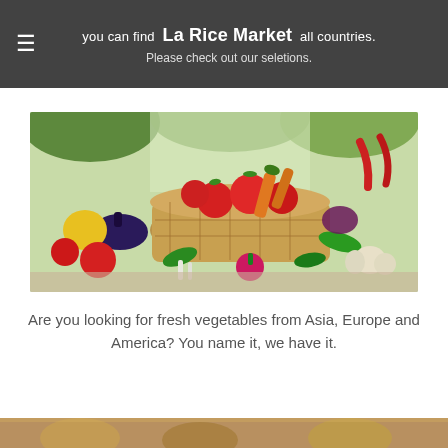La Rice Market — you can find La Rice Market all countries. Please check out our seletions.
[Figure (photo): Basket of fresh vegetables including tomatoes, carrots, eggplant, bell peppers, garlic, chili peppers, and green herbs arranged on a surface]
Are you looking for fresh vegetables from Asia, Europe and America? You name it, we have it.
[Figure (photo): Bottom strip showing partial image, appears to be food items]